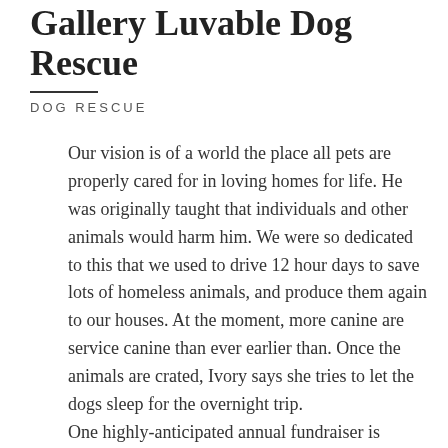Gallery Luvable Dog Rescue
DOG RESCUE
Our vision is of a world the place all pets are properly cared for in loving homes for life. He was originally taught that individuals and other animals would harm him. We were so dedicated to this that we used to drive 12 hour days to save lots of homeless animals, and produce them again to our houses. At the moment, more canine are service canine than ever earlier than. Once the animals are crated, Ivory says she tries to let the dogs sleep for the overnight trip.
One highly-anticipated annual fundraiser is Barkitecture, a profit for area animal welfare organizations to gather with Blue Canine...